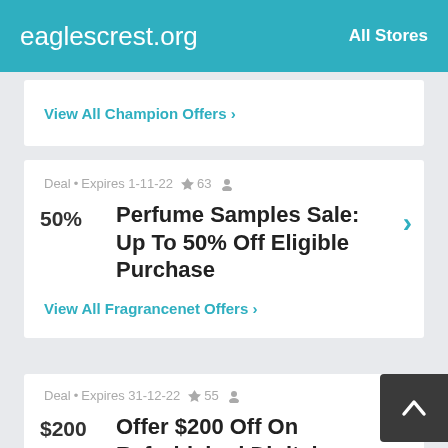eaglescrest.org | All Stores
View All Champion Offers ›
Deal • Expires 1-11-22 🔔 63 👤
Perfume Samples Sale: Up To 50% Off Eligible Purchase
50%
View All Fragrancenet Offers ›
Deal • Expires 31-12-22 🔔 55 👤
Offer $200 Off On Refurbished Digital Hunting Binoculars
$200